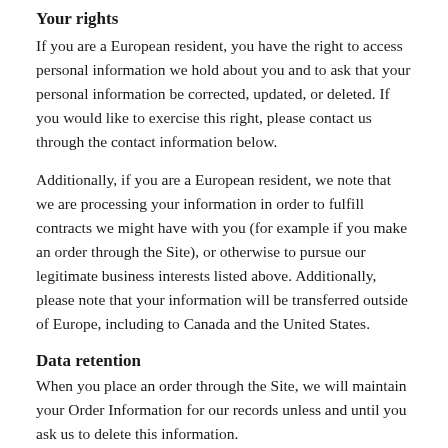Your rights
If you are a European resident, you have the right to access personal information we hold about you and to ask that your personal information be corrected, updated, or deleted. If you would like to exercise this right, please contact us through the contact information below.
Additionally, if you are a European resident, we note that we are processing your information in order to fulfill contracts we might have with you (for example if you make an order through the Site), or otherwise to pursue our legitimate business interests listed above. Additionally, please note that your information will be transferred outside of Europe, including to Canada and the United States.
Data retention
When you place an order through the Site, we will maintain your Order Information for our records unless and until you ask us to delete this information.